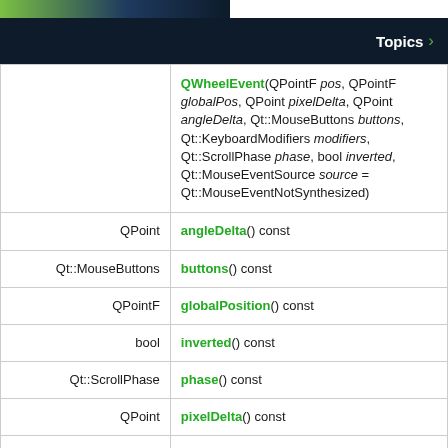Topics
| Type | Function |
| --- | --- |
|  | QWheelEvent(QPointF pos, QPointF globalPos, QPoint pixelDelta, QPoint angleDelta, Qt::MouseButtons buttons, Qt::KeyboardModifiers modifiers, Qt::ScrollPhase phase, bool inverted, Qt::MouseEventSource source = Qt::MouseEventNotSynthesized) |
| QPoint | angleDelta() const |
| Qt::MouseButtons | buttons() const |
| QPointF | globalPosition() const |
| bool | inverted() const |
| Qt::ScrollPhase | phase() const |
| QPoint | pixelDelta() const |
| QPointF | position() const |
| Qt::MouseEventSource | source() const |